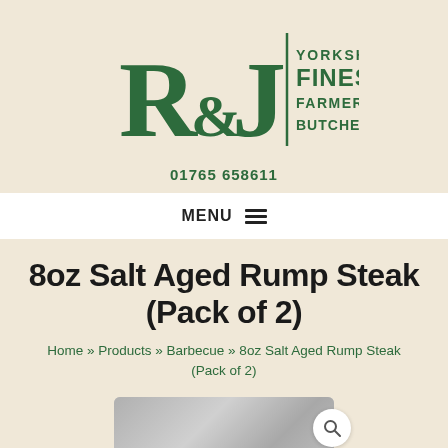[Figure (logo): R&J Yorkshire's Finest Farmers & Butchers logo in dark green]
01765 658611
MENU
8oz Salt Aged Rump Steak (Pack of 2)
Home » Products » Barbecue » 8oz Salt Aged Rump Steak (Pack of 2)
[Figure (photo): Product photo of 8oz Salt Aged Rump Steak with magnifying glass search icon overlay]